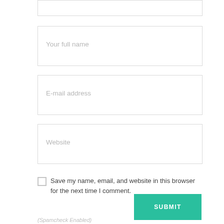[Figure (screenshot): Partial form input box at top of page (cropped)]
Your full name
E-mail address
Website
Save my name, email, and website in this browser for the next time I comment.
SUBMIT
(Spamcheck Enabled)